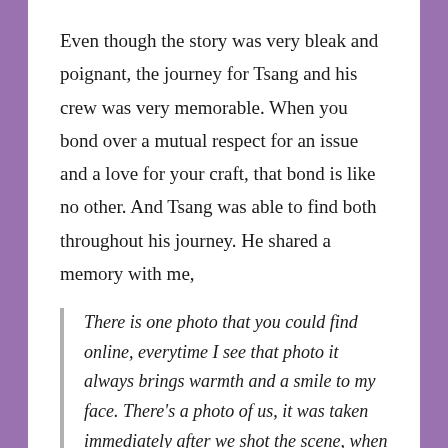Even though the story was very bleak and poignant, the journey for Tsang and his crew was very memorable. When you bond over a mutual respect for an issue and a love for your craft, that bond is like no other. And Tsang was able to find both throughout his journey. He shared a memory with me,
There is one photo that you could find online, everytime I see that photo it always brings warmth and a smile to my face. There’s a photo of us, it was taken immediately after we shot the scene, when the actor and actress shaved their head. In solidarity, I told my actors, especially my